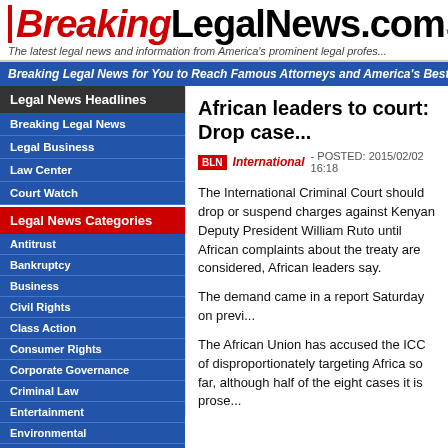BreakingLegalNews.com™
The latest legal news and information from America's prominent legal profes...
Breaking Legal News for You to Reach Famous Attorneys and America's Best Legal...
Legal News Headlines
Breaking Legal News
Legal Business
Law Center
Court Watch
Legal News Categories
Antitrust
Bankruptcy
Business
Civil Rights
Class Action
Consumer Rights
Corporate Governance
Criminal Law
Entertainment
Environmental
Family Law
Health Care
African leaders to court: Drop case...
BLN International - POSTED: 2015/02/02 16:18
The International Criminal Court should drop or suspend charges against Kenyan Deputy President William Ruto until African complaints about the treaty are considered, African leaders say.
The demand came in a report Saturday on previ...
The African Union has accused the ICC of disproportionately targeting Africa so far, although half of the eight cases it is prose...
Ruto and radio journalist Joshua Sang have been accused of orchestrating Kenya's 2007-08 postelection violence, in which more than 1,000 and 600,000 others were forced to flee their hom...